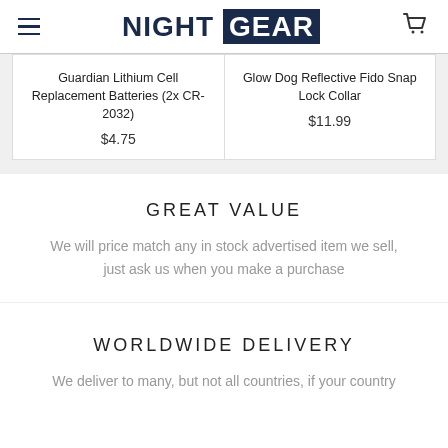NIGHT GEAR
Guardian Lithium Cell Replacement Batteries (2x CR-2032)
$4.75
Glow Dog Reflective Fido Snap Lock Collar
$11.99
GREAT VALUE
We will price match any in stock advertised item we sell, just ask us when you make a purchase
WORLDWIDE DELIVERY
We deliver to many, but not all countries, if your country